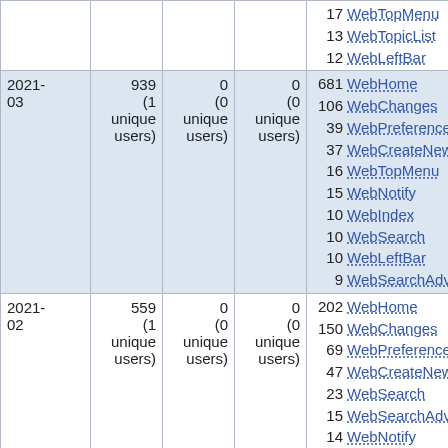| Month | Views | Saves | Edits | Top pages |
| --- | --- | --- | --- | --- |
|  |  |  |  | 17 WebTopMenu
13 WebTopicList
12 WebLeftBar |
| 2021-03 | 939 (1 unique users) | 0 (0 unique users) | 0 (0 unique users) | 681 WebHome
106 WebChanges
39 WebPreferences
37 WebCreateNewTopic
16 WebTopMenu
15 WebNotify
10 WebIndex
10 WebSearch
10 WebLeftBar
9 WebSearchAdvanced |
| 2021-02 | 559 (1 unique users) | 0 (0 unique users) | 0 (0 unique users) | 202 WebHome
150 WebChanges
69 WebPreferences
47 WebCreateNewTopic
23 WebSearch
15 WebSearchAdvanced
14 WebNotify
11 WebTopMenu |